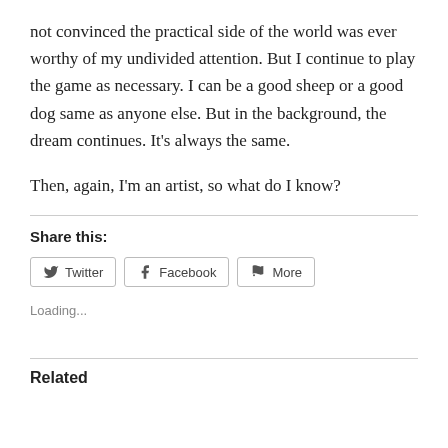not convinced the practical side of the world was ever worthy of my undivided attention. But I continue to play the game as necessary. I can be a good sheep or a good dog same as anyone else. But in the background, the dream continues. It’s always the same.
Then, again, I’m an artist, so what do I know?
Share this:
Twitter  Facebook  More
Loading...
Related